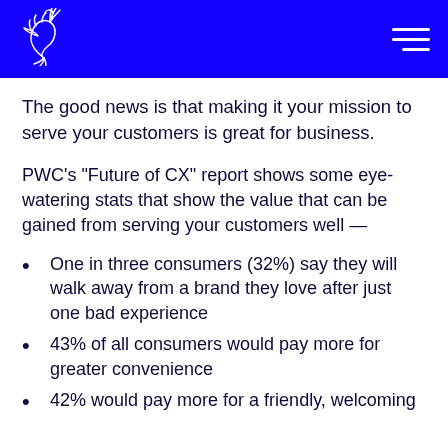[Logo and navigation header]
The good news is that making it your mission to serve your customers is great for business.
PWC's “Future of CX” report shows some eye-watering stats that show the value that can be gained from serving your customers well —
One in three consumers (32%) say they will walk away from a brand they love after just one bad experience
43% of all consumers would pay more for greater convenience
42% would pay more for a friendly, welcoming